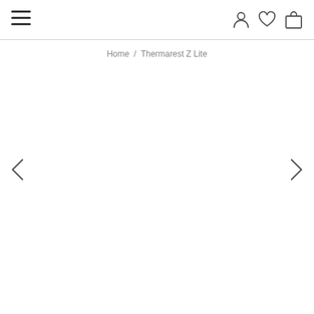Navigation header with menu, user, wishlist, and cart icons
Home / Thermarest Z Lite
[Figure (other): Product image area (empty/white) for Thermarest Z Lite with left and right navigation arrows]